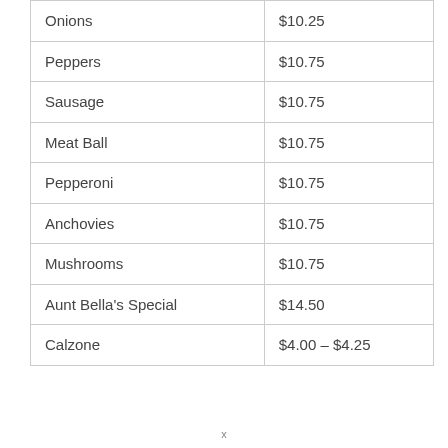| Item | Price |
| --- | --- |
| Onions | $10.25 |
| Peppers | $10.75 |
| Sausage | $10.75 |
| Meat Ball | $10.75 |
| Pepperoni | $10.75 |
| Anchovies | $10.75 |
| Mushrooms | $10.75 |
| Aunt Bella's Special | $14.50 |
| Calzone | $4.00 – $4.25 |
x